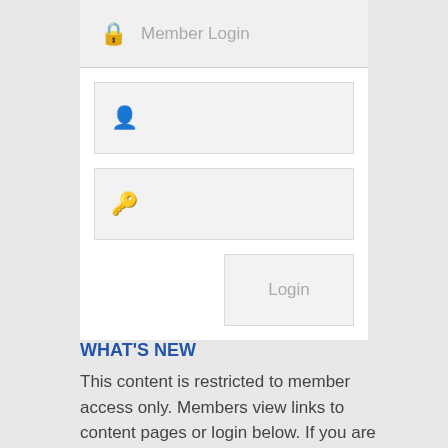Member Login
[Figure (screenshot): Member login form with username field (person icon), password field (key icon), and Login button]
WHAT'S NEW
This content is restricted to member access only. Members view links to content pages or login below. If you are not a member and wish to apply to join our website please